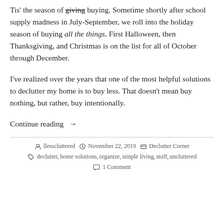Tis' the season of giving buying. Sometime shortly after school supply madness in July-September, we roll into the holiday season of buying all the things. First Halloween, then Thanksgiving, and Christmas is on the list for all of October through December.
I've realized over the years that one of the most helpful solutions to declutter my home is to buy less. That doesn't mean buy nothing, but rather, buy intentionally.
Continue reading →
llesscluttered  November 22, 2019  Declutter Corner  declutter, home solutions, organize, simple living, stuff, uncluttered  1 Comment